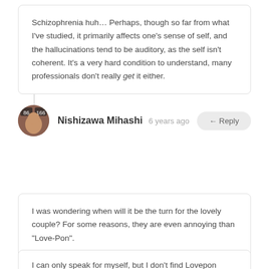Schizophrenia huh… Perhaps, though so far from what I've studied, it primarily affects one's sense of self, and the hallucinations tend to be auditory, as the self isn't coherent. It's a very hard condition to understand, many professionals don't really get it either.
Nishizawa Mihashi  6 years ago  ← Reply
I was wondering when will it be the turn for the lovely couple? For some reasons, they are even annoying than "Love-Pon".
rg  6 years ago  ← Reply
I can only speak for myself, but I don't find Lovepon